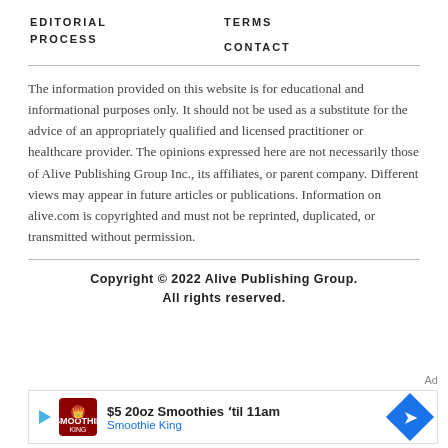EDITORIAL PROCESS
TERMS
CONTACT
The information provided on this website is for educational and informational purposes only. It should not be used as a substitute for the advice of an appropriately qualified and licensed practitioner or healthcare provider. The opinions expressed here are not necessarily those of Alive Publishing Group Inc., its affiliates, or parent company. Different views may appear in future articles or publications. Information on alive.com is copyrighted and must not be reprinted, duplicated, or transmitted without permission.
Copyright © 2022 Alive Publishing Group. All rights reserved.
[Figure (infographic): Advertisement banner for Smoothie King: $5 20oz Smoothies 'til 11am]